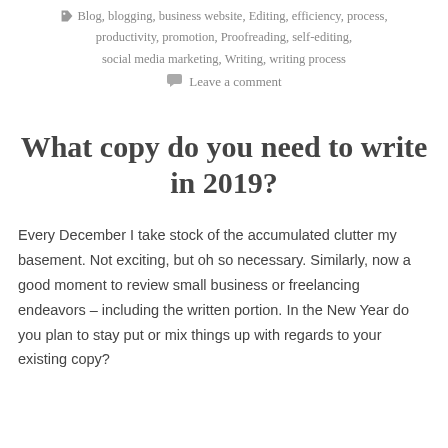Blog, blogging, business website, Editing, efficiency, process, productivity, promotion, Proofreading, self-editing, social media marketing, Writing, writing process
Leave a comment
What copy do you need to write in 2019?
Every December I take stock of the accumulated clutter my basement. Not exciting, but oh so necessary. Similarly, now a good moment to review small business or freelancing endeavors – including the written portion. In the New Year do you plan to stay put or mix things up with regards to your existing copy?